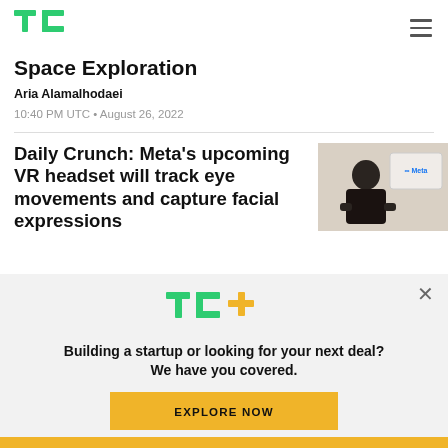TechCrunch logo and navigation
Space Exploration
Aria Alamalhodaei
10:40 PM UTC • August 26, 2022
Daily Crunch: Meta's upcoming VR headset will track eye movements and capture facial expressions
[Figure (photo): Photo of Mark Zuckerberg presenting in front of a Meta logo screen]
Building a startup or looking for your next deal? We have you covered.
EXPLORE NOW